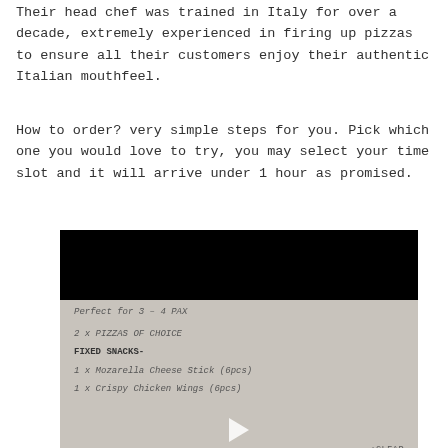Their head chef was trained in Italy for over a decade, extremely experienced in firing up pizzas to ensure all their customers enjoy their authentic Italian mouthfeel.
How to order? very simple steps for you. Pick which one you would love to try, you may select your time slot and it will arrive under 1 hour as promised.
[Figure (screenshot): Screenshot of a food ordering interface showing a pizza bundle deal. Top section is a black video thumbnail with a play button. Below is a gray form area showing: 'Perfect for 3 - 4 PAX', '2 x Pizzas of choice', 'FIXED SNACKS-', '1 x Mozarella Cheese Stick (6pcs)', '1 x Crispy Chicken Wings (6pcs)', with a play button overlay and CLEAR button. Below are dropdowns: 'Pizza Choice 1' with 'Bolognese Pizza' selected, 'Pizza Choice 2' with 'Choose an option', and a partially visible third row.]